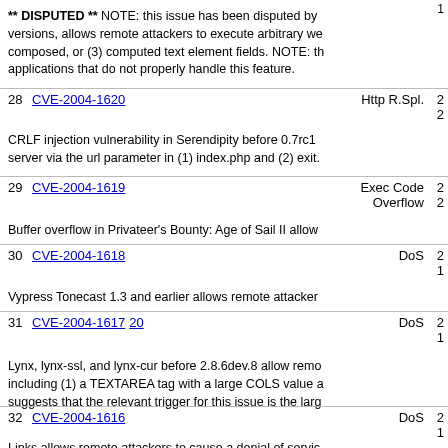1
** DISPUTED ** NOTE: this issue has been disputed by versions, allows remote attackers to execute arbitrary we composed, or (3) computed text element fields. NOTE: th applications that do not properly handle this feature.
28  CVE-2004-1620  Http R.Spl.  2
CRLF injection vulnerability in Serendipity before 0.7rc1 server via the url parameter in (1) index.php and (2) exit.
29  CVE-2004-1619  Exec Code  2
                   Overflow    2
Buffer overflow in Privateer's Bounty: Age of Sail II allow
30  CVE-2004-1618  DoS  2
                             1
Vypress Tonecast 1.3 and earlier allows remote attacker
31  CVE-2004-1617  20  DoS  2
                                  1
Lynx, lynx-ssl, and lynx-cur before 2.8.6dev.8 allow remo including (1) a TEXTAREA tag with a large COLS value a suggests that the relevant trigger for this issue is the larg
32  CVE-2004-1616  DoS  2
                             1
Links allows remote attackers to cause a denial of servic revenue value as demonstrated by mongoleme.